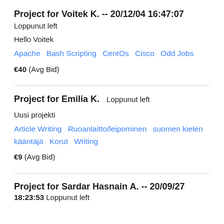Project for Voitek K.  -- 20/12/04 16:47:07
Loppunut left
Hello Voitek
Apache   Bash Scripting   CentOs   Cisco   Odd Jobs
€40  (Avg Bid)
Project for Emilia K.
Loppunut left
Uusi projekti
Article Writing   Ruoanlaitto/leipominen   suomen kielen kääntäjä   Korut   Writing
€9  (Avg Bid)
Project for Sardar Hasnain A.  -- 20/09/27
18:23:53  Loppunut left